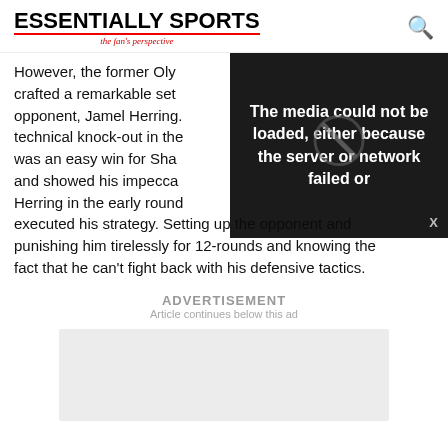ESSENTIALLY SPORTS - the fan's perspective
However, the former Olympic champion crafted a remarkable set opponent, Jamel Herring. technical knock-out in the was an easy win for Sha and showed his impecca Herring in the early rounds of the fight and masterfully executed his strategy. Setting up the opponent and punishing him tirelessly for 12-rounds and knowing the fact that he can't fight back with his defensive tactics.
[Figure (screenshot): Video player overlay showing error message: 'The media could not be loaded, either because the server or network failed or']
ADVERTISEMENT
Article continues below this ad